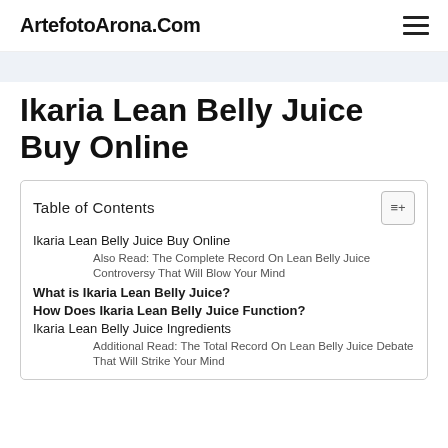ArtefotoArona.Com
Ikaria Lean Belly Juice Buy Online
| Table of Contents |
| --- |
| Ikaria Lean Belly Juice Buy Online |
| Also Read: The Complete Record On Lean Belly Juice Controversy That Will Blow Your Mind |
| What is Ikaria Lean Belly Juice? |
| How Does Ikaria Lean Belly Juice Function? |
| Ikaria Lean Belly Juice Ingredients |
| Additional Read: The Total Record On Lean Belly Juice Debate That Will Strike Your Mind |